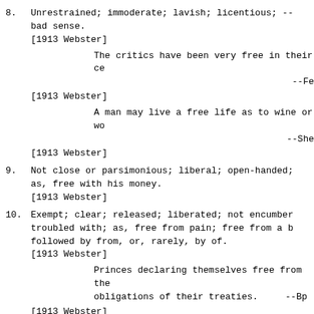8. Unrestrained; immoderate; lavish; licentious; -- in a bad sense.
[1913 Webster]
The critics have been very free in their ce
--Fe
[1913 Webster]
A man may live a free life as to wine or wo
--She
[1913 Webster]
9. Not close or parsimonious; liberal; open-handed; as, free with his money.
[1913 Webster]
10. Exempt; clear; released; liberated; not encumber troubled with; as, free from pain; free from a followed by from, or, rarely, by of.
[1913 Webster]
Princes declaring themselves free from the obligations of their treaties.      --Bp
[1913 Webster]
11. Characteristic of one acting without restraint; easy.
[1913 Webster]
12. Ready; eager; acting without spurring or whippi